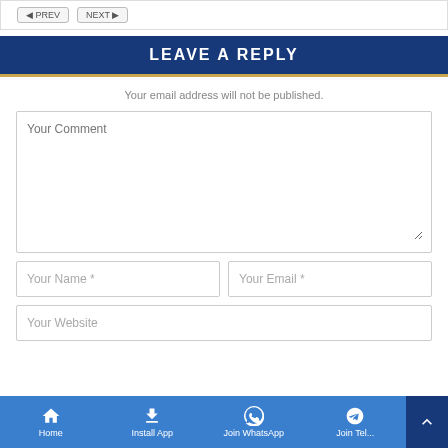LEAVE A REPLY
Your email address will not be published.
Your Comment
Your Name *
Your Email *
Your Website
Home  Install App  Join WhatsApp  Join Tel...